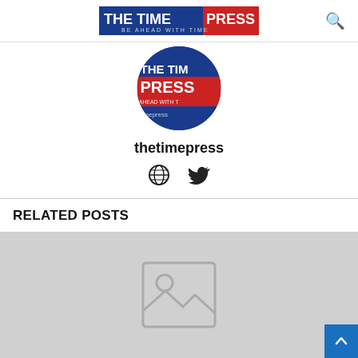THE TIME PRESS - BE AHEAD WITH TIME
[Figure (logo): The Time Press logo - circular avatar with blue top and red bottom sections, text THE TIME and PRESS visible]
thetimepress
[Figure (infographic): Social media icons: globe/website icon and Twitter bird icon]
RELATED POSTS
[Figure (photo): Grey placeholder image with image icon (mountain and sun) in center]